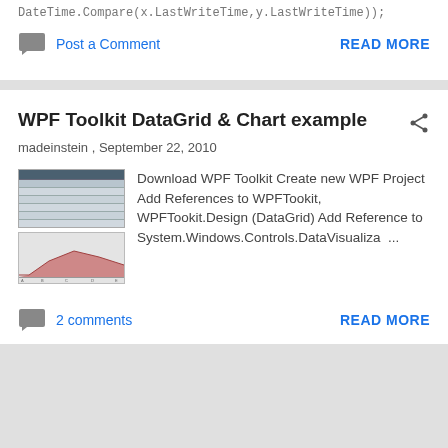DateTime.Compare(x.LastWriteTime,y.LastWriteTime));
Post a Comment
READ MORE
WPF Toolkit DataGrid & Chart example
madeinstein , September 22, 2010
[Figure (screenshot): Thumbnail of WPF DataGrid and Chart showing a table at top and an area chart at bottom]
Download WPF Toolkit Create new WPF Project Add References to WPFTookit, WPFTookit.Design (DataGrid) Add Reference to System.Windows.Controls.DataVisualiza ...
2 comments
READ MORE